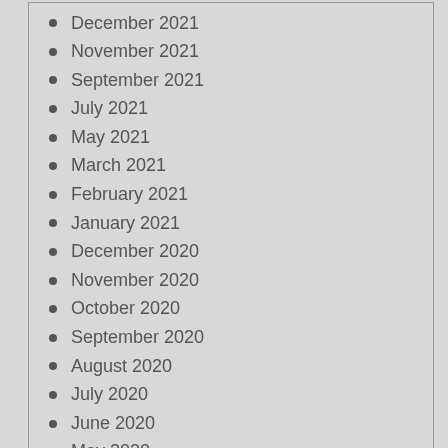December 2021
November 2021
September 2021
July 2021
May 2021
March 2021
February 2021
January 2021
December 2020
November 2020
October 2020
September 2020
August 2020
July 2020
June 2020
May 2020
April 2020
March 2020
February 2020